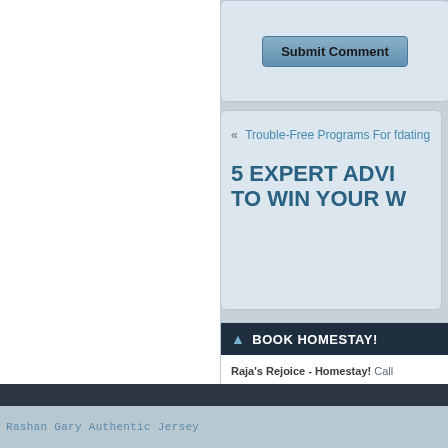Submit Comment
« Trouble-Free Programs For fdating
5 EXPERT ADVI… TO WIN YOUR W…
BOOK HOMESTAY!
Raja's Rejoice - Homestay! Call 9841217595 very close to the lake with all amenities. Just 10 minutes from the lake. Contact: 9841217595, 9841050457, 98404…
Search
Rashan Gary Authentic Jersey